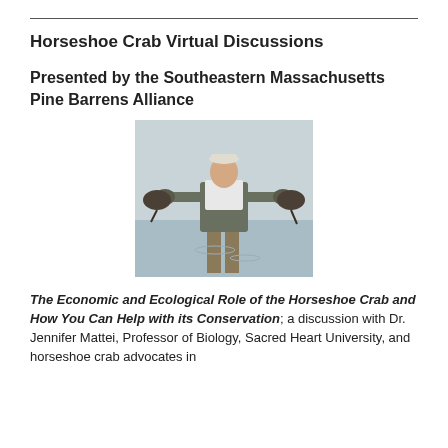Horseshoe Crab Virtual Discussions
Presented by the Southeastern Massachusetts Pine Barrens Alliance
[Figure (photo): Person standing in water wearing waders and a vest, holding a horseshoe crab in each outstretched hand.]
The Economic and Ecological Role of the Horseshoe Crab and How You Can Help with its Conservation; a discussion with Dr. Jennifer Mattei, Professor of Biology, Sacred Heart University, and horseshoe crab advocates in